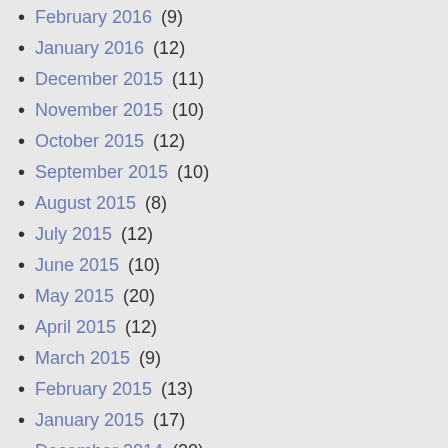February 2016 (9)
January 2016 (12)
December 2015 (11)
November 2015 (10)
October 2015 (12)
September 2015 (10)
August 2015 (8)
July 2015 (12)
June 2015 (10)
May 2015 (20)
April 2015 (12)
March 2015 (9)
February 2015 (13)
January 2015 (17)
December 2014 (20)
November 2014 (19)
October 2014 (31)
September 2014 (26)
August 2014 (19)
July 2014 (13)
June 2014 (15)